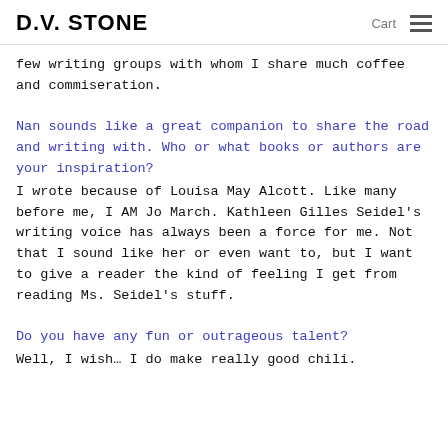D.V. STONE   Cart ☰
few writing groups with whom I share much coffee and commiseration.
Nan sounds like a great companion to share the road and writing with. Who or what books or authors are your inspiration?
I wrote because of Louisa May Alcott. Like many before me, I AM Jo March. Kathleen Gilles Seidel's writing voice has always been a force for me. Not that I sound like her or even want to, but I want to give a reader the kind of feeling I get from reading Ms. Seidel's stuff.
Do you have any fun or outrageous talent?
Well, I wish… I do make really good chili.